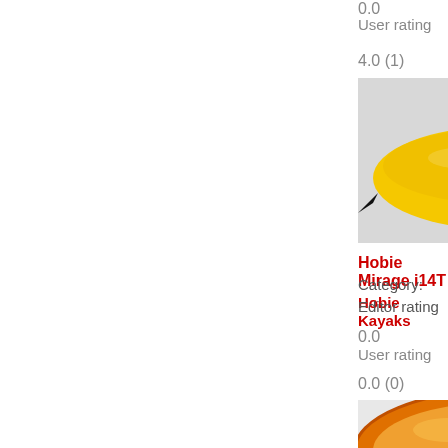0.0
User rating
4.0 (1)
[Figure (photo): Yellow Hobie Mirage i14T kayak with pedal drive system and seat, viewed from above at an angle against a grey background.]
Hobie Mirage i14T
Category: Hobie Kayaks
Editor rating
0.0
User rating
0.0 (0)
[Figure (photo): Orange and yellow kayak viewed from the side/top, showing the cockpit with a dark seat insert, partially visible at the bottom of the page.]